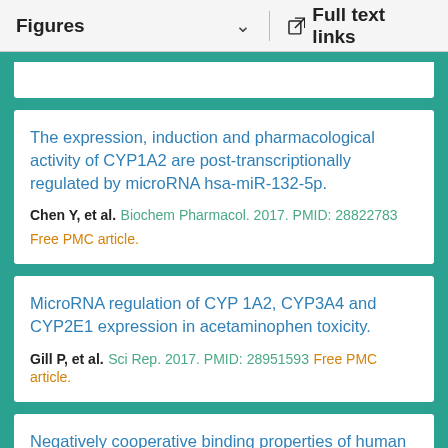Figures   ˅   Full text links
The expression, induction and pharmacological activity of CYP1A2 are post-transcriptionally regulated by microRNA hsa-miR-132-5p.
Chen Y, et al. Biochem Pharmacol. 2017. PMID: 28822783
Free PMC article.
MicroRNA regulation of CYP 1A2, CYP3A4 and CYP2E1 expression in acetaminophen toxicity.
Gill P, et al. Sci Rep. 2017. PMID: 28951593 Free PMC article.
Negatively cooperative binding properties of human cytochrome P450 2E1 with monocyclic